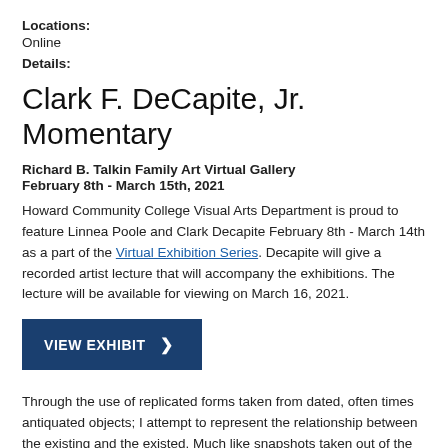Locations: Online
Details:
Clark F. DeCapite, Jr. Momentary
Richard B. Talkin Family Art Virtual Gallery
February 8th - March 15th, 2021
Howard Community College Visual Arts Department is proud to feature Linnea Poole and Clark Decapite February 8th - March 14th as a part of the Virtual Exhibition Series. Decapite will give a recorded artist lecture that will accompany the exhibitions. The lecture will be available for viewing on March 16, 2021.
VIEW EXHIBIT >
Through the use of replicated forms taken from dated, often times antiquated objects; I attempt to represent the relationship between the existing and the existed. Much like snapshots taken out of the